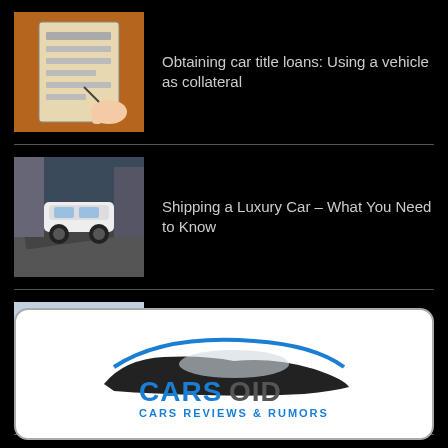Obtaining car title loans: Using a vehicle as collateral
Shipping a Luxury Car – What You Need to Know
How to choose feather flags for car events
[Figure (logo): Carsoid – Cars Reviews & Rumors logo with stylized car silhouette in blue and black]